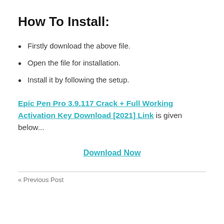How To Install:
Firstly download the above file.
Open the file for installation.
Install it by following the setup.
Epic Pen Pro 3.9.117 Crack + Full Working Activation Key Download [2021] Link is given below...
Download Now
« Previous Post